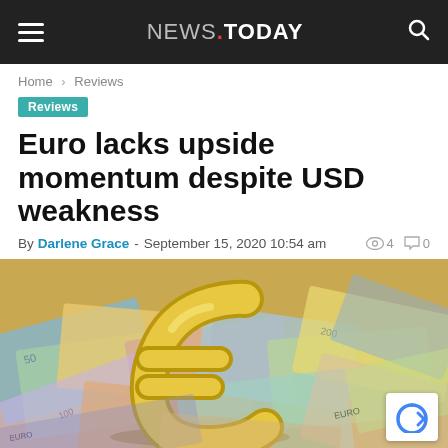NEWS.TODAY
Home › Reviews
Reviews
Euro lacks upside momentum despite USD weakness
By Darlene Grace - September 15, 2020 10:54 am  👁 4  💬 0
[Figure (photo): Gold Euro sign resting on scattered Euro banknotes (50, 200 denominations visible), with a reCAPTCHA badge overlay in the bottom-right corner.]